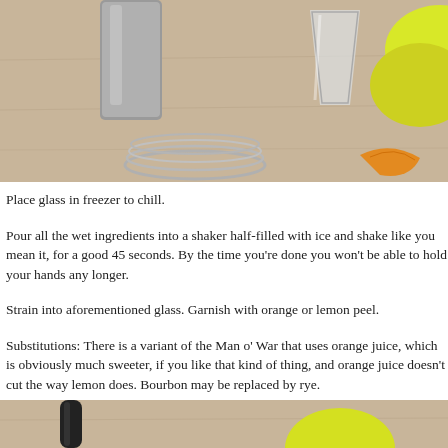[Figure (photo): Photo of cocktail bar tools: a metal shaker, a glass, a strainer coil, orange peel, and lemons on a wooden surface.]
Place glass in freezer to chill.
Pour all the wet ingredients into a shaker half-filled with ice and shake like you mean it, for a good 45 seconds. By the time you're done you won't be able to hold your hands any longer.
Strain into aforementioned glass. Garnish with orange or lemon peel.
Substitutions: There is a variant of the Man o' War that uses orange juice, which is obviously much sweeter, if you like that kind of thing, and orange juice doesn't cut the way lemon does. Bourbon may be replaced by rye.
[Figure (photo): Bottom portion of a photo showing bar tools and a lemon on a wooden surface.]